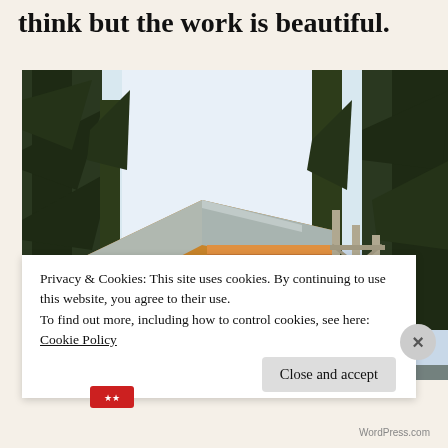think but the work is beautiful.
[Figure (photo): A wooden cabin or house under construction surrounded by tall evergreen trees, with scaffolding visible on the right side. The structure features a steep gabled roof with metal cladding and large windows.]
Privacy & Cookies: This site uses cookies. By continuing to use this website, you agree to their use.
To find out more, including how to control cookies, see here: Cookie Policy
Close and accept